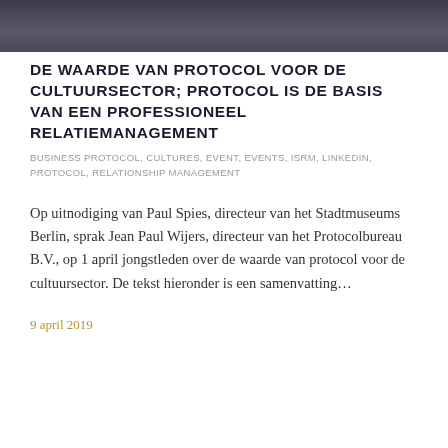[Figure (photo): Dark photograph of people, shown as a horizontal bar at the top of the page]
DE WAARDE VAN PROTOCOL VOOR DE CULTUURSECTOR; PROTOCOL IS DE BASIS VAN EEN PROFESSIONEEL RELATIEMANAGEMENT
BUSINESS PROTOCOL, CULTURES, EVENT, EVENTS, ISRM, LINKEDIN, PROTOCOL, RELATIONSHIP MANAGEMENT
Op uitnodiging van Paul Spies, directeur van het Stadtmuseums Berlin, sprak Jean Paul Wijers, directeur van het Protocolbureau B.V., op 1 april jongstleden over de waarde van protocol voor de cultuursector. De tekst hieronder is een samenvatting…
9 april 2019